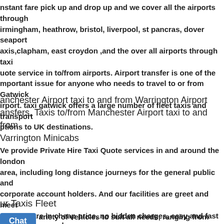nstant fare pick up and drop up and we cover all the airports through irmingham, heathrow, bristol, liverpool, st pancras, dover seaport axis,clapham, east croydon ,and the over all airports through taxi uote service in to/from airports. Airport transfer is one of the mportant issue for anyone who needs to travel to or from Gatwick irport. taxi gatwick offers a large number of fleet taxis and transport ptions to UK destinations.
anchester Airport taxi to and from Warrington Airport ansfers, Taxis to/from Manchester Airport taxi to and from Varrington Minicabs
Ve provide Private Hire Taxi Quote services in and around the london area, including long distance journeys for the general public and corporate account holders. And our facilities are greet and meet services are in cheap price, no hidden charges, easy and fast booking, receive from all london crusies ports and airports, more over any train and tube stations in cities.
ur Taxis Fleet
Ve   ariety of vehicles to suit all needs, ranging from normal